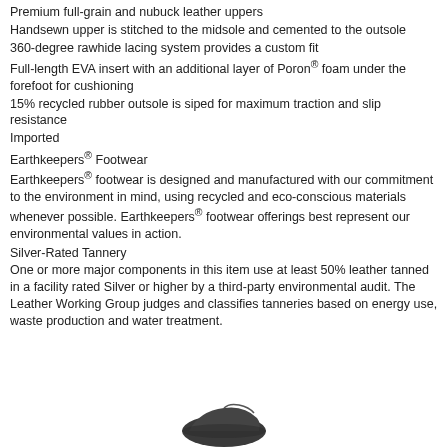Premium full-grain and nubuck leather uppers
Handsewn upper is stitched to the midsole and cemented to the outsole
360-degree rawhide lacing system provides a custom fit
Full-length EVA insert with an additional layer of Poron® foam under the forefoot for cushioning
15% recycled rubber outsole is siped for maximum traction and slip resistance
Imported
Earthkeepers® Footwear
Earthkeepers® footwear is designed and manufactured with our commitment to the environment in mind, using recycled and eco-conscious materials whenever possible. Earthkeepers® footwear offerings best represent our environmental values in action.
Silver-Rated Tannery
One or more major components in this item use at least 50% leather tanned in a facility rated Silver or higher by a third-party environmental audit. The Leather Working Group judges and classifies tanneries based on energy use, waste production and water treatment.
[Figure (photo): Partial view of a dark-colored shoe at the bottom of the page]